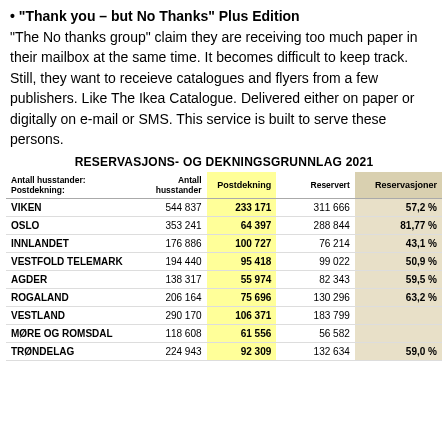"Thank you – but No Thanks" Plus Edition
"The No thanks group" claim they are receiving too much paper in their mailbox at the same time. It becomes difficult to keep track.  Still, they want to receieve catalogues and flyers from a few publishers. Like The Ikea Catalogue. Delivered either on paper or digitally on e-mail or SMS. This service is built to serve these persons.
RESERVASJONS- OG DEKNINGSGRUNNLAG 2021
| Antall husstander: Postdekning: | Antall husstander | Postdekning | Reservert | Reservasjoner |
| --- | --- | --- | --- | --- |
| VIKEN | 544 837 | 233 171 | 311 666 | 57,2 % |
| OSLO | 353 241 | 64 397 | 288 844 | 81,77 % |
| INNLANDET | 176 886 | 100 727 | 76 214 | 43,1 % |
| VESTFOLD TELEMARK | 194 440 | 95 418 | 99 022 | 50,9 % |
| AGDER | 138 317 | 55 974 | 82 343 | 59,5 % |
| ROGALAND | 206 164 | 75 696 | 130 296 | 63,2 % |
| VESTLAND | 290 170 | 106 371 | 183 799 |  |
| MØRE OG ROMSDAL | 118 608 | 61 556 | 56 582 |  |
| TRØNDELAG | 224 943 | 92 309 | 132 634 | 59,0 % |